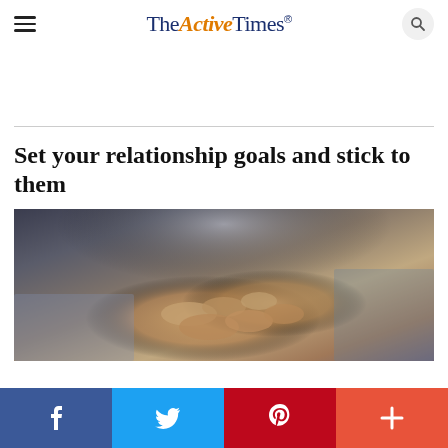TheActiveTimes
Set your relationship goals and stick to them
[Figure (photo): Close-up photo of two people holding hands, showing elderly hands clasped together with clothing visible in the background.]
Facebook | Twitter | Pinterest | More